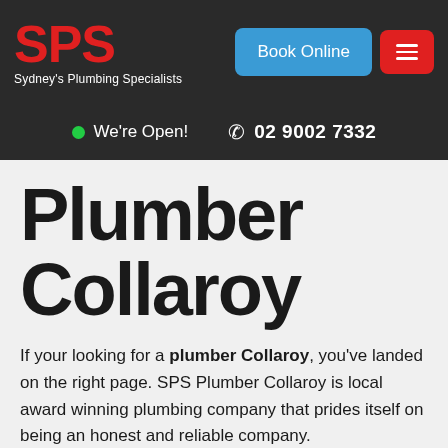SPS Sydney's Plumbing Specialists | Book Online | Menu
We're Open!    02 9002 7332
Plumber Collaroy
If your looking for a plumber Collaroy, you've landed on the right page. SPS Plumber Collaroy is local award winning plumbing company that prides itself on being an honest and reliable company.
Choosing the right plumbing company is important